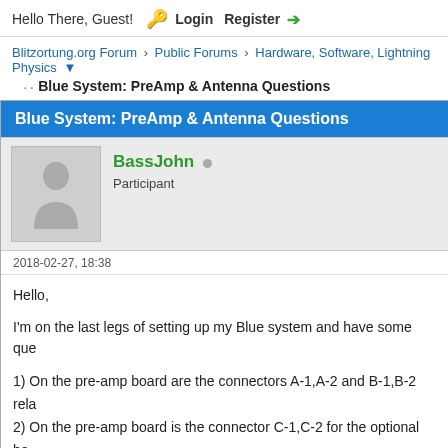Hello There, Guest!  Login  Register
Blitzortung.org Forum › Public Forums › Hardware, Software, Lightning Physics
Blue System: PreAmp & Antenna Questions
Blue System: PreAmp & Antenna Questions
BassJohn
Participant
2018-02-27, 18:38
Hello,

I'm on the last legs of setting up my Blue system and have some que

1) On the pre-amp board are the connectors A-1,A-2 and B-1,B-2 rela
2) On the pre-amp board is the connector C-1,C-2 for the optional ho
3) I intend to use my loop antenna I had on my Green system, Which
4) On the Green system the loop antenna windings were wound in a
thin til... for the Blue system if so which end of the loop antenna t